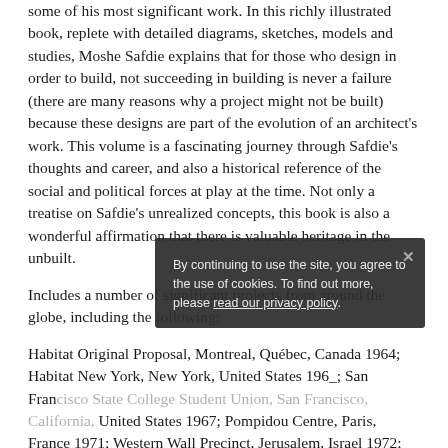some of his most significant work. In this richly illustrated book, replete with detailed diagrams, sketches, models and studies, Moshe Safdie explains that for those who design in order to build, not succeeding in building is never a failure (there are many reasons why a project might not be built) because these designs are part of the evolution of an architect's work. This volume is a fascinating journey through Safdie's thoughts and career, and also a historical reference of the social and political forces at play at the time. Not only a treatise on Safdie's unrealized concepts, this book is also a wonderful affirmation that there is valuable heritage in the unbuilt.
Includes a number of significant projects from around the globe, including the following:
Habitat Original Proposal, Montreal, Québec, Canada 1964; Habitat New York, New York, United States 196_; San Francisco State College Student Union, San Francisco, California, United States 1967; Pompidou Centre, Paris, France 1971; Western Wall Precinct, Jerusalem, Israel 1972; Supreme Court of Israel, Jerusalem, Israel 1985; Columbus Center, New...
By continuing to use the site, you agree to the use of cookies. To find out more, please read our privacy policy.